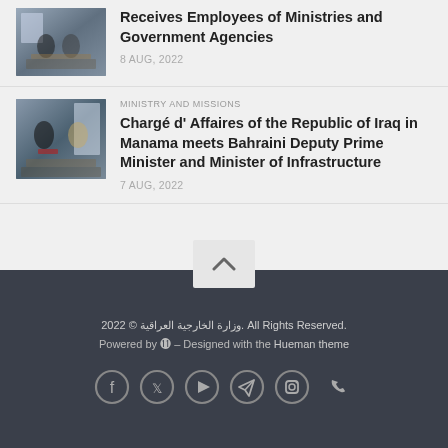[Figure (photo): Photo thumbnail of a meeting scene with people seated at a table]
Receives Employees of Ministries and Government Agencies
8 AUG, 2022
[Figure (photo): Photo thumbnail showing two officials meeting, one in a suit and one in traditional Gulf attire, seated in a formal room]
MINISTRY AND MISSIONS
Chargé d' Affaires of the Republic of Iraq in Manama meets Bahraini Deputy Prime Minister and Minister of Infrastructure
7 AUG, 2022
2022 © وزارة الخارجية العراقية. All Rights Reserved.
Powered by ⓦ – Designed with the Hueman theme